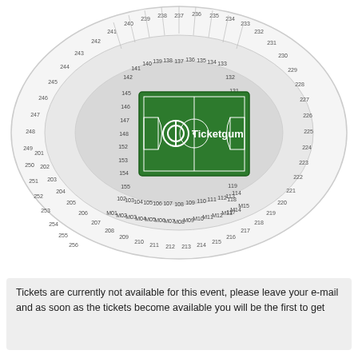[Figure (other): Stadium seating map for a football/soccer stadium showing sections numbered 100s, 200s, and labeled M sections around the pitch. A green football pitch is shown in the center with the Ticketgum logo.]
Tickets are currently not available for this event, please leave your e-mail and as soon as the tickets become available you will be the first to get